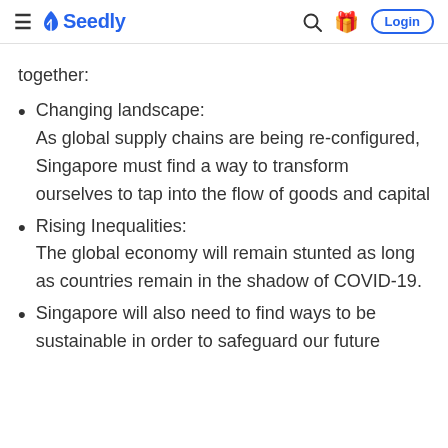Seedly
together:
Changing landscape: As global supply chains are being re-configured, Singapore must find a way to transform ourselves to tap into the flow of goods and capital
Rising Inequalities: The global economy will remain stunted as long as countries remain in the shadow of COVID-19.
Singapore will also need to find ways to be sustainable in order to safeguard our future